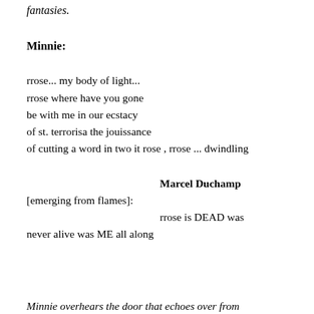fantasies.
Minnie:
rrose... my body of light...
rrose where have you gone
be with me in our ecstacy
of st. terrorisa the jouissance
of cutting a word in two it rose , rrose ... dwindling
Marcel Duchamp
[emerging from flames]:
rrose is DEAD was
never alive was ME all along
Minnie overhears the door that echoes over from